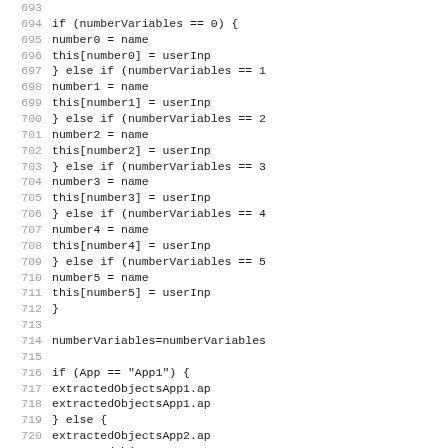693  
694      if (numberVariables == 0) {
695              number0 = name
696              this[number0] = userInp
697      } else if (numberVariables == 1
698              number1 = name
699              this[number1] = userInp
700      } else if (numberVariables == 2
701              number2 = name
702              this[number2] = userInp
703      } else if (numberVariables == 3
704              number3 = name
705              this[number3] = userInp
706      } else if (numberVariables == 4
707              number4 = name
708              this[number4] = userInp
709      } else if (numberVariables == 5
710              number5 = name
711              this[number5] = userInp
712      }
713  
714      numberVariables=numberVariables
715  
716      if (App == "App1") {
717              extractedObjectsApp1.ap
718              extractedObjectsApp1.ap
719      } else {
720              extractedObjectsApp2.ap
721              extractedObjectsApp2.ap
722      }
723      break
724      case "time":
725